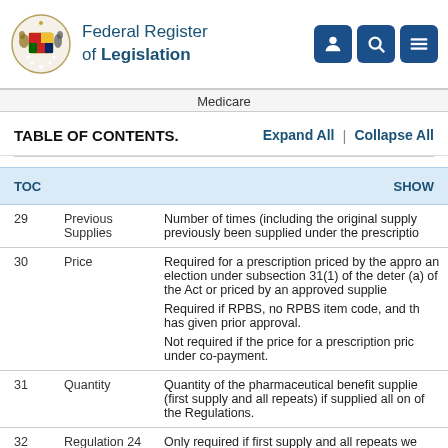Federal Register of Legislation
Medicare
TABLE OF CONTENTS.   Expand All  |  Collapse All
| TOC |  | SHOW |
| --- | --- | --- |
| 29 | Previous Supplies | Number of times (including the original supply previously been supplied under the prescription |
| 30 | Price | Required for a prescription priced by the approved an election under subsection 31(1) of the determination (a) of the Act or priced by an approved supplier

Required if RPBS, no RPBS item code, and the has given prior approval.

Not required if the price for a prescription priced under co-payment. |
| 31 | Quantity | Quantity of the pharmaceutical benefit supplied (first supply and all repeats) if supplied all on one of the Regulations. |
| 32 | Regulation 24 | Only required if first supply and all repeats we |